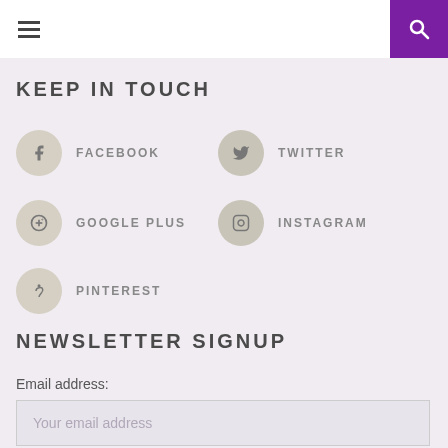Navigation header with hamburger menu and purple search button
KEEP IN TOUCH
FACEBOOK
TWITTER
GOOGLE PLUS
INSTAGRAM
PINTEREST
NEWSLETTER SIGNUP
Email address:
Your email address